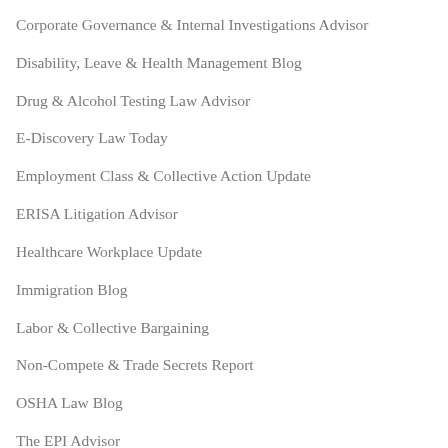Corporate Governance & Internal Investigations Advisor
Disability, Leave & Health Management Blog
Drug & Alcohol Testing Law Advisor
E-Discovery Law Today
Employment Class & Collective Action Update
ERISA Litigation Advisor
Healthcare Workplace Update
Immigration Blog
Labor & Collective Bargaining
Non-Compete & Trade Secrets Report
OSHA Law Blog
The EPI Advisor